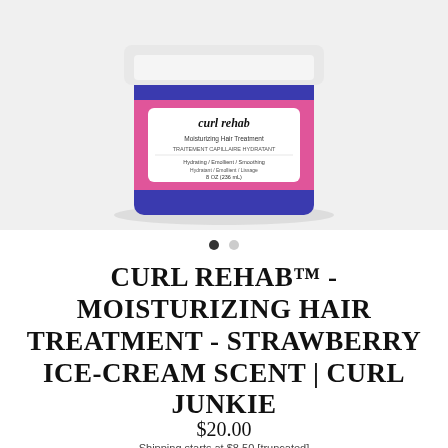[Figure (photo): A blue jar of Curl Rehab Moisturizing Hair Treatment with a white lid and a pink label, on a light background. The label reads 'curl rehab Moisturizing Hair Treatment / Traitement Capillaire Hydratant / Hydrating / Emollient / Smoothing / Hydratant / Emollient / Lissage / 8 OZ (236 mL)']
CURL REHAB™ - MOISTURIZING HAIR TREATMENT - STRAWBERRY ICE-CREAM SCENT | CURL JUNKIE
$20.00
Shipping starts at $8.50 [truncated]